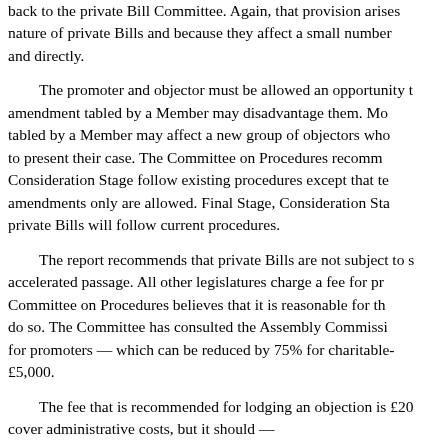back to the private Bill Committee. Again, that provision arises nature of private Bills and because they affect a small number and directly.
The promoter and objector must be allowed an opportunity amendment tabled by a Member may disadvantage them. Mo tabled by a Member may affect a new group of objectors who to present their case. The Committee on Procedures recomm Consideration Stage follow existing procedures except that te amendments only are allowed. Final Stage, Consideration Sta private Bills will follow current procedures.
The report recommends that private Bills are not subject to accelerated passage. All other legislatures charge a fee for pr Committee on Procedures believes that it is reasonable for th do so. The Committee has consulted the Assembly Commissi for promoters — which can be reduced by 75% for charitable- £5,000.
The fee that is recommended for lodging an objection is £20 cover administrative costs, but it should —
Mr Deputy Speaker: Will the Member draw his remarks to